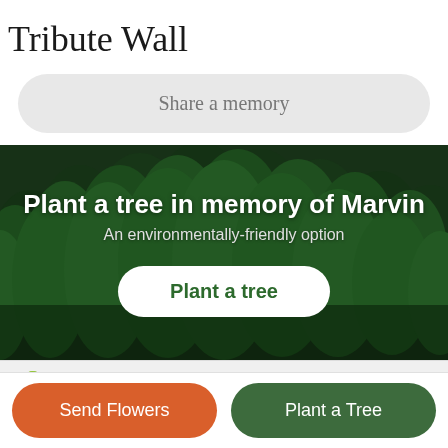Tribute Wall
Share a memory
[Figure (photo): Forest aerial view banner with dark green pine trees, overlaid with text 'Plant a tree in memory of Marvin', subtitle 'An environmentally-friendly option', and a white 'Plant a tree' button]
1 tree planted in memory of Marvin
Caitlin Miller
Send Flowers
Plant a Tree